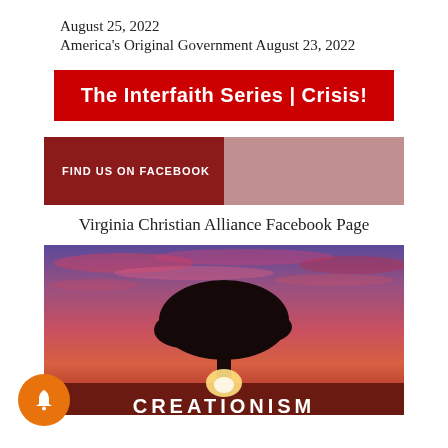August 25, 2022
America's Original Government August 23, 2022
The Interfaith Series | Crisis!
FIND US ON FACEBOOK
Virginia Christian Alliance Facebook Page
[Figure (photo): Photo of a tree silhouette against a dramatic sunset sky with pink and purple clouds, with the word CREATIONISM at the bottom]